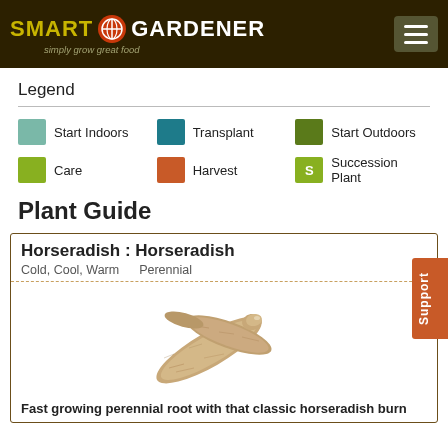SMART GARDENER simply grow great food
Legend
Start Indoors
Transplant
Start Outdoors
Care
Harvest
S Succession Plant
Plant Guide
Horseradish : Horseradish
Cold, Cool, Warm    Perennial
[Figure (photo): Photo of horseradish roots — beige/tan knobbly roots crossed]
Fast growing perennial root with that classic horseradish burn